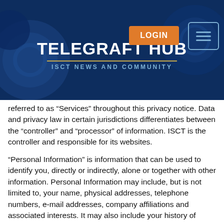[Figure (screenshot): Telegraft Hub website header with dark blue background showing microscopic cell imagery, site title 'TELEGRAFT HUB', subtitle 'ISCT NEWS AND COMMUNITY', an orange LOGIN button, and a hamburger menu icon]
referred to as “Services” throughout this privacy notice. Data and privacy law in certain jurisdictions differentiates between the “controller” and “processor” of information. ISCT is the controller and responsible for its websites.
“Personal Information” is information that can be used to identify you, directly or indirectly, alone or together with other information. Personal Information may include, but is not limited to, your name, physical addresses, telephone numbers, e-mail addresses, company affiliations and associated interests. It may also include your history of transactional activities that you had on our Digital Properties. It does not include data where the identity has been removed (anonymous data). Certain information may not be personally identifiable when standing alone (e.g., your age), but may become so when combined with